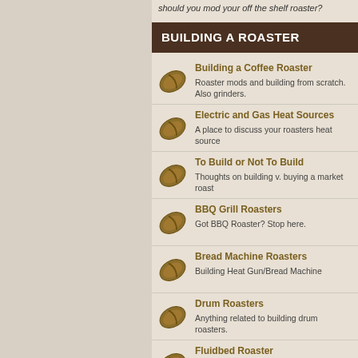should you mod your off the shelf roaster?
BUILDING A ROASTER
Building a Coffee Roaster - Roaster mods and building from scratch. Also grinders.
Electric and Gas Heat Sources - A place to discuss your roasters heat source
To Build or Not To Build - Thoughts on building v. buying a market roast
BBQ Grill Roasters - Got BBQ Roaster? Stop here.
Bread Machine Roasters - Building Heat Gun/Bread Machine
Drum Roasters - Anything related to building drum roasters.
Fluidbed Roaster - Anything related to building Hot Air Roasters
Turbo Oven Roasters - A place anything Turbo Oven